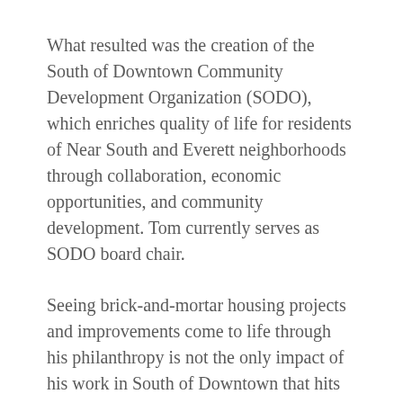What resulted was the creation of the South of Downtown Community Development Organization (SODO), which enriches quality of life for residents of Near South and Everett neighborhoods through collaboration, economic opportunities, and community development. Tom currently serves as SODO board chair.
Seeing brick-and-mortar housing projects and improvements come to life through his philanthropy is not the only impact of his work in South of Downtown that hits home.
“The most notable impact for me has been understanding the community,” he said. “If you speak with someone who lives in the area, they know that SODO has their back and their interest at heart. This work is not only about affordable housing but addressing the many elements that